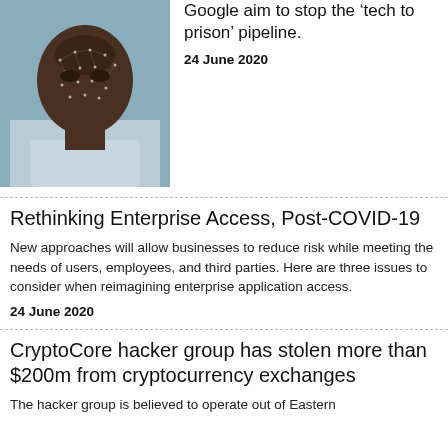[Figure (photo): Photo of a man's face with facial recognition dot overlay pattern]
Google aim to stop the 'tech to prison' pipeline.
24 June 2020
Rethinking Enterprise Access, Post-COVID-19
New approaches will allow businesses to reduce risk while meeting the needs of users, employees, and third parties. Here are three issues to consider when reimagining enterprise application access.
24 June 2020
CryptoCore hacker group has stolen more than $200m from cryptocurrency exchanges
The hacker group is believed to operate out of Eastern